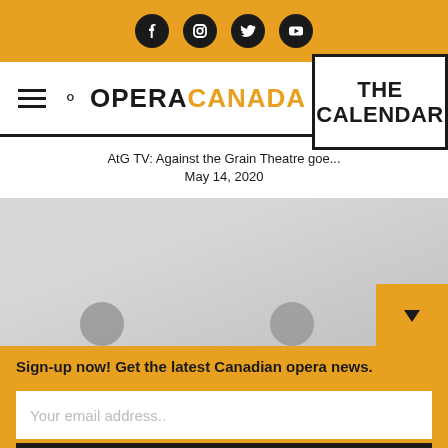[Figure (screenshot): Orange top bar with social media icons: Facebook, Instagram, Twitter, YouTube]
OPERA CANADA — THE CALENDAR
AtG TV: Against the Grain Theatre goe...
May 14, 2020
[Figure (photo): Gray gradient photo area showing people silhouettes at the bottom with an orange navigation arrow button on the right]
Sign-up now! Get the latest Canadian opera news.
Your email address..
Sign-Up